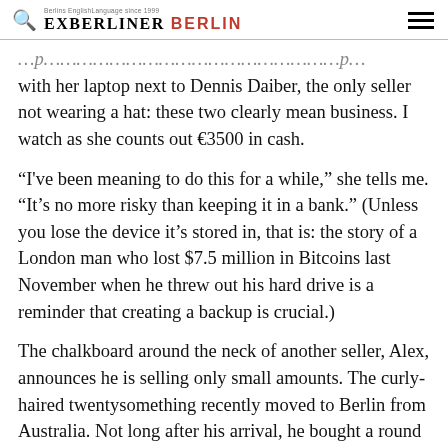EXBERLINER BERLIN
with her laptop next to Dennis Daiber, the only seller not wearing a hat: these two clearly mean business. I watch as she counts out €3500 in cash.
“I've been meaning to do this for a while,” she tells me. “It's no more risky than keeping it in a bank.” (Unless you lose the device it's stored in, that is: the story of a London man who lost $7.5 million in Bitcoins last November when he threw out his hard drive is a reminder that creating a backup is crucial.)
The chalkboard around the neck of another seller, Alex, announces he is selling only small amounts. The curly-haired twentysomething recently moved to Berlin from Australia. Not long after his arrival, he bought a round of beers for some friends, and one of them paid him back in